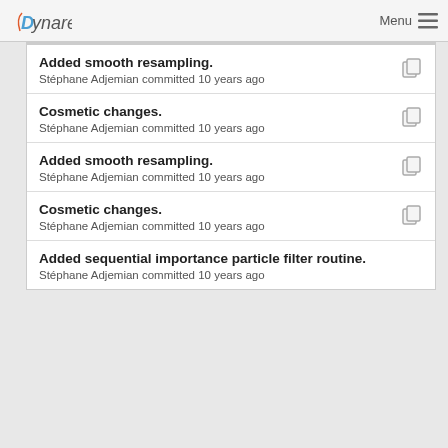Dynare  Menu
Added smooth resampling.
Stéphane Adjemian committed 10 years ago
Cosmetic changes.
Stéphane Adjemian committed 10 years ago
Added smooth resampling.
Stéphane Adjemian committed 10 years ago
Cosmetic changes.
Stéphane Adjemian committed 10 years ago
Added sequential importance particle filter routine.
Stéphane Adjemian committed 10 years ago